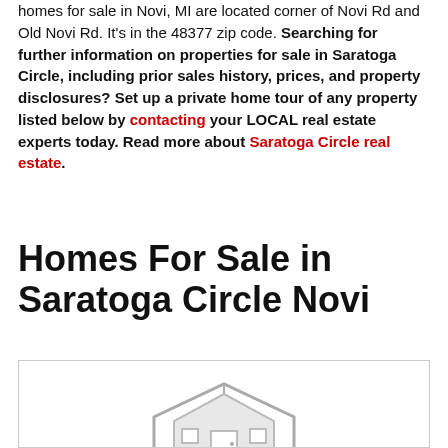homes for sale in Novi, MI are located corner of Novi Rd and Old Novi Rd. It's in the 48377 zip code. Searching for further information on properties for sale in Saratoga Circle, including prior sales history, prices, and property disclosures? Set up a private home tour of any property listed below by contacting your LOCAL real estate experts today. Read more about Saratoga Circle real estate.
Homes For Sale in Saratoga Circle Novi
[Figure (illustration): A placeholder house icon outline in gray inside a bordered listing card]